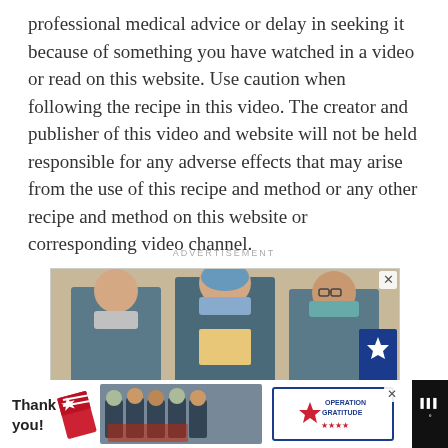professional medical advice or delay in seeking it because of something you have watched in a video or read on this website. Use caution when following the recipe in this video. The creator and publisher of this video and website will not be held responsible for any adverse effects that may arise from the use of this recipe and method or any other recipe and method on this website or corresponding video channel.
ADVERTISEMENT
[Figure (photo): Advertisement image showing three medical workers wearing masks and scrubs, holding items, with a blue star card visible on the right side.]
[Figure (photo): Bottom advertisement banner showing 'Thank you!' text with American flag graphic, firefighters group photo, and Operation Gratitude logo.]